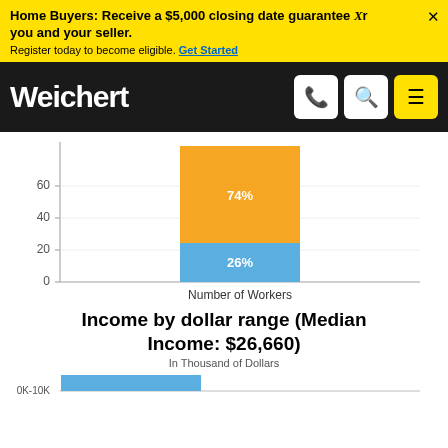Home Buyers: Receive a $5,000 closing date guarantee Xr you and your seller. Register today to become eligible. Get Started
[Figure (logo): Weichert real estate logo and navigation bar with phone, search, and menu icons]
[Figure (stacked-bar-chart): Number of Workers]
Income by dollar range (Median Income: $26,660)
In Thousand of Dollars
[Figure (bar-chart): Partial bar chart showing income by dollar range, x-axis starting at 0K-10K]